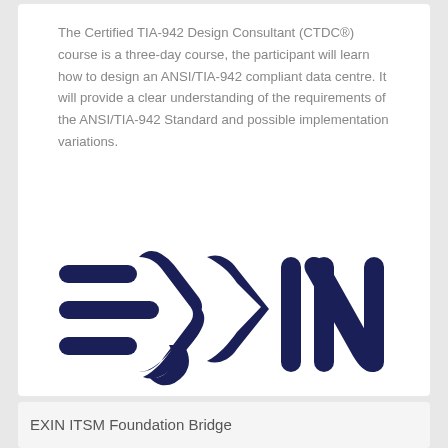The Certified TIA-942 Design Consultant (CTDC®) course is a three-day course, the participant will learn how to design an ANSI/TIA-942 compliant data centre. It will provide a clear understanding of the requirements of the ANSI/TIA-942 Standard and possible implementation variations.
[Figure (logo): EXIN logo — dark navy blue stylized arrow/chevron shapes on the left forming lines and chevrons, followed by the letters X, I, N in bold rounded dark navy font]
EXIN ITSM Foundation Bridge